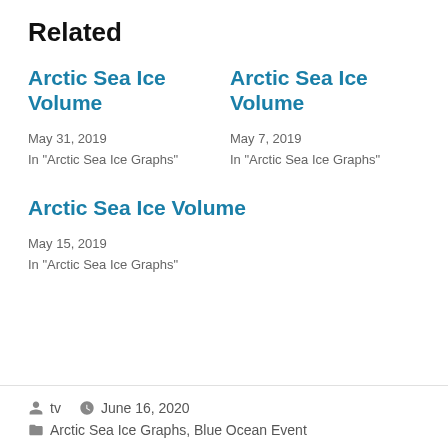Related
Arctic Sea Ice Volume
May 31, 2019
In "Arctic Sea Ice Graphs"
Arctic Sea Ice Volume
May 7, 2019
In "Arctic Sea Ice Graphs"
Arctic Sea Ice Volume
May 15, 2019
In "Arctic Sea Ice Graphs"
tv  June 16, 2020  Arctic Sea Ice Graphs, Blue Ocean Event